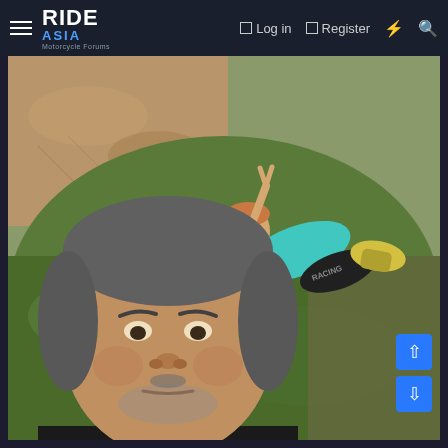RIDE ASIA Motorcycle Forums — Log in | Register
[Figure (photo): Outdoor photo of two people resting on a grassy hillside. In the foreground, a middle-aged man with grey stubble hair takes a selfie, wearing a black shirt, looking serious at the camera. In the background, a younger person in a teal cycling jersey and black racing shorts with 'RACING' text lies on the slope giving a peace sign with a bike or gear visible nearby.]